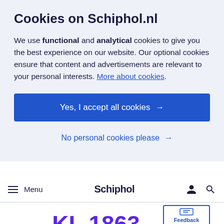Cookies on Schiphol.nl
We use functional and analytical cookies to give you the best experience on our website. Our optional cookies ensure that content and advertisements are relevant to your personal interests. More about cookies.
Yes, I accept all cookies →
No personal cookies please →
≡ Menu  Schiphol
Dusseldorf
KL 1863
[Figure (other): Feedback button widget with chat icon]